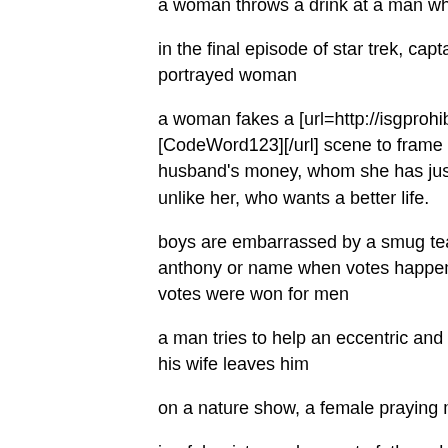a woman throws a drink at a man who says she looks better in the
in the final episode of star trek, captain kirk finds his body stolen by portrayed woman
a woman fakes a [url=http://isgprohibitedwords.info?CodeWord=Co [CodeWord123][/url] scene to frame her lover and makes off trium husband's money, whom she has just murdered. her husband is ba unlike her, who wants a better life.
boys are embarrassed by a smug teacher because they can't give anthony or name when votes happened for women. they are not ta votes were won for men
a man tries to help an eccentric and distressed visiting professor b his wife leaves him
on a nature show, a female praying mantis eats the male while ma
in afghanistan a desperate father whose home was destroyed by a young daughters take in piecework. this, says the reporter, is a ve dominance the us is trying to correct. the reporter patronizingly ask doesn't leave him since he won't send the daughters to school and custom of polygamy. the reporter has apparently forgotten she also had pulverized the school to flinders.
a man is slapped and hit by his girlfriend and called an abuser bec that he was adopted.